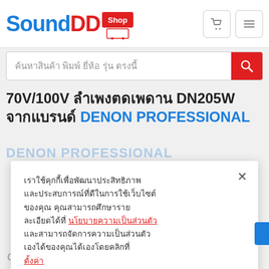[Figure (logo): SoundDD.Shop logo with blue 'Sound', red 'DD', and red 'Shop' badge with shopping cart icon]
[Figure (screenshot): Search bar with Thai placeholder text and red search button]
70V/100V ลำเพงตดเพดาน DN205W จากแบรนด์ DENON PROFESSIONAL
เราใช้คุกกี้เพื่อพัฒนาประสิทธิภาพ และประสบการณ์ที่ดีในการใช้เว็บไซต์ของคุณ คุณสามารถศึกษารายละเอียดได้ที่ นโยบายความเป็นส่วนตัว และสามารถจัดการความเป็นส่วนตัวเองได้ของคุณได้เองโดยคลิกที่ ตั้งค่า
ตั้งค่า | ยอมรับ